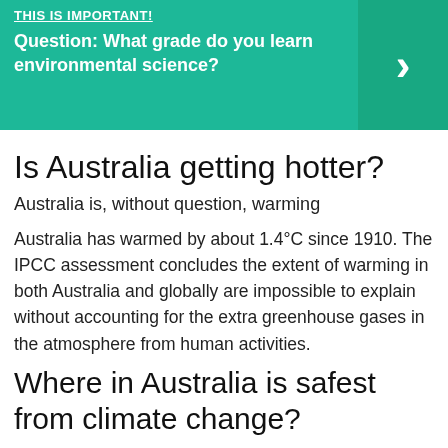THIS IS IMPORTANT!
Question: What grade do you learn environmental science?
Is Australia getting hotter?
Australia is, without question, warming
Australia has warmed by about 1.4°C since 1910. The IPCC assessment concludes the extent of warming in both Australia and globally are impossible to explain without accounting for the extra greenhouse gases in the atmosphere from human activities.
Where in Australia is safest from climate change?